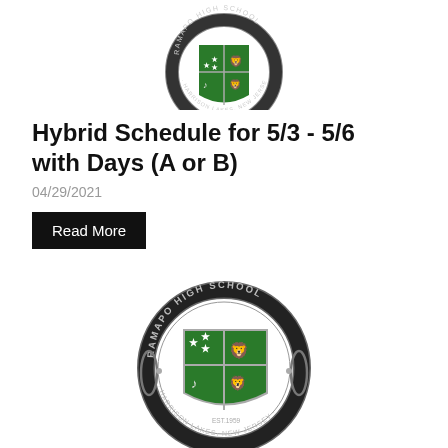[Figure (logo): Ramapo High School crest/shield logo (partial, top crop) — green and silver shield with RAMAPO HIGH SCHOOL text, Harrison Lakes New Jersey, EST 1959]
Hybrid Schedule for 5/3 - 5/6 with Days (A or B)
04/29/2021
Read More
[Figure (logo): Ramapo High School full crest/shield logo — green and silver shield with stars, harp, lion, RAMAPO HIGH SCHOOL circular text, Harrison Lakes New Jersey, EST 1959]